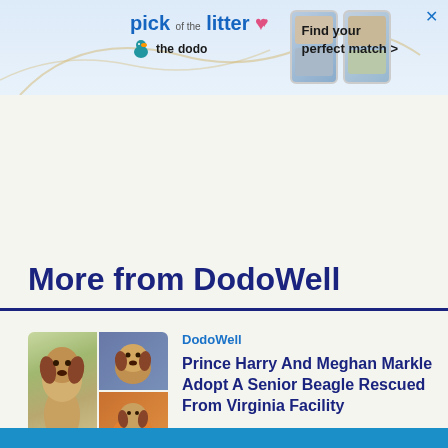[Figure (screenshot): Advertisement banner for 'The Dodo' - 'pick of the litter' pet adoption ad with phone images showing cats and dogs, and text 'Find your perfect match >']
AdChoices  Sponsored
More from DodoWell
DodoWell
Prince Harry And Meghan Markle Adopt A Senior Beagle Rescued From Virginia Facility
[Figure (photo): Collage of beagle dog photos - one showing a beagle puppy outdoors, one showing beagles in a car]